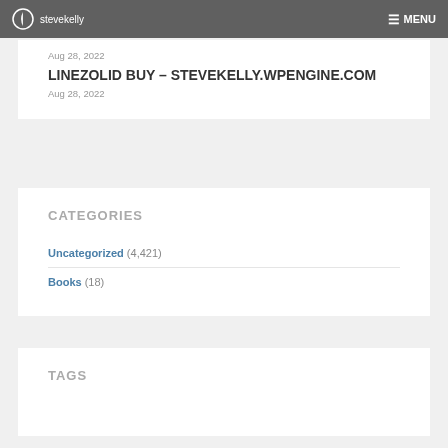stevekelly  MENU
Aug 28, 2022
LINEZOLID BUY – STEVEKELLY.WPENGINE.COM
Aug 28, 2022
CATEGORIES
Uncategorized (4,421)
Books (18)
TAGS